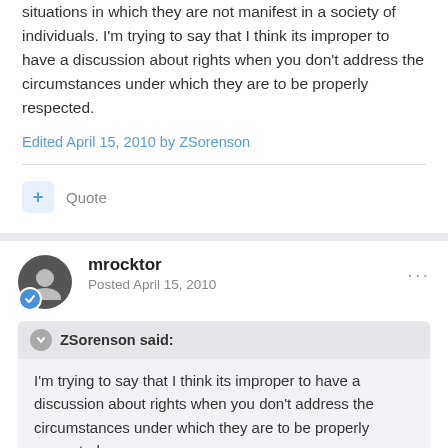situations in which they are not manifest in a society of individuals. I'm trying to say that I think its improper to have a discussion about rights when you don't address the circumstances under which they are to be properly respected.
Edited April 15, 2010 by ZSorenson
Quote
mrocktor
Posted April 15, 2010
ZSorenson said:
I'm trying to say that I think its improper to have a discussion about rights when you don't address the circumstances under which they are to be properly respected.